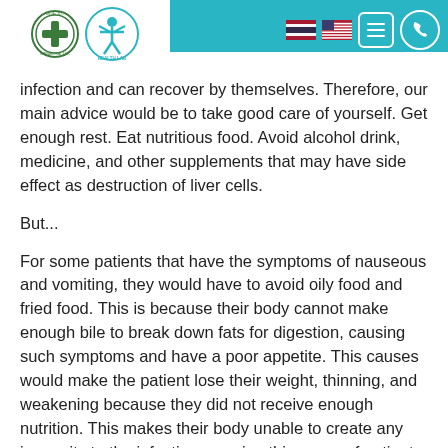Health Lab / Manachai TLC logo and navigation header
infection and can recover by themselves. Therefore, our main advice would be to take good care of yourself. Get enough rest. Eat nutritious food. Avoid alcohol drink, medicine, and other supplements that may have side effect as destruction of liver cells.
But...
For some patients that have the symptoms of nauseous and vomiting, they would have to avoid oily food and fried food. This is because their body cannot make enough bile to break down fats for digestion, causing such symptoms and have a poor appetite. This causes would make the patient lose their weight, thinning, and weakening because they did not receive enough nutrition. This makes their body unable to create any immunity to the infection, causing this group of patients to have chronic hepatitis b